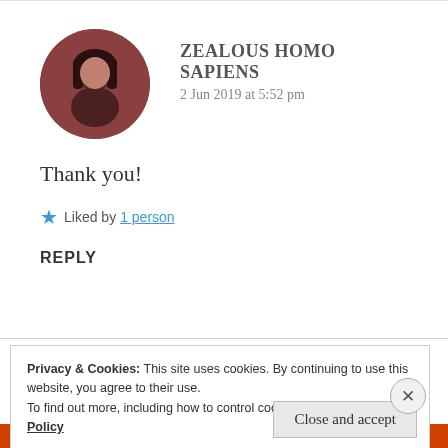ZEALOUS HOMO SAPIENS
2 Jun 2019 at 5:52 pm
Thank you!
★ Liked by 1 person
REPLY
Privacy & Cookies: This site uses cookies. By continuing to use this website, you agree to their use.
To find out more, including how to control cookies, see here: Cookie Policy
Close and accept